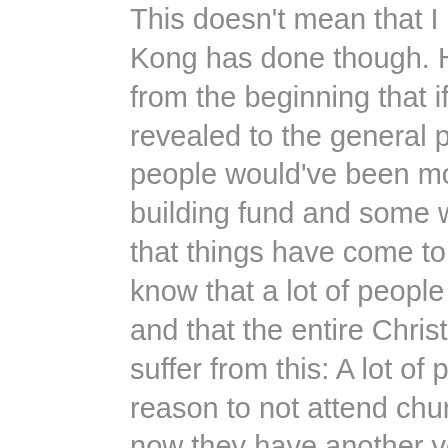This doesn't mean that I agree with what Pst Kong has done though. He must have known from the beginning that if things were to be revealed to the general public much more directly, people would've been more adverse to give to the building fund and some would question it. Now that things have come to this, it is very sad to know that a lot of people has back slid from this and that the entire Christian community stands to suffer from this: A lot of people already have their reason to not attend church and believe in Christ, now they have another very big one.
1 Corinthians 8:9-13
Becareful, however, that the exercise of your rights does not become a stumbling block to the weak. For if someone with a weak conscience sees